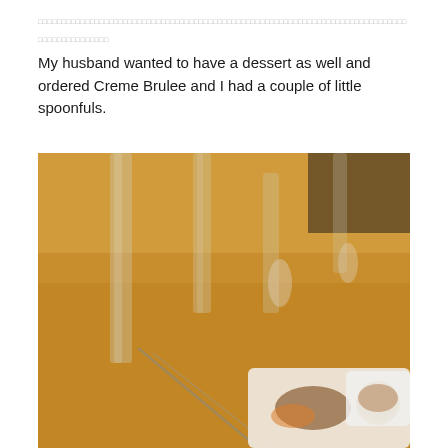□□□□□□□□□□□□□□□□□□□□□□□□□□□□□□□□□□□□□□□□□□□□□□□□□□□
My husband wanted to have a dessert as well and ordered Creme Brulee and I had a couple of little spoonfuls.
[Figure (photo): Blurred photo of a restaurant table setting with glasses, cutlery, and a white plate containing food, set on a wooden table surface.]